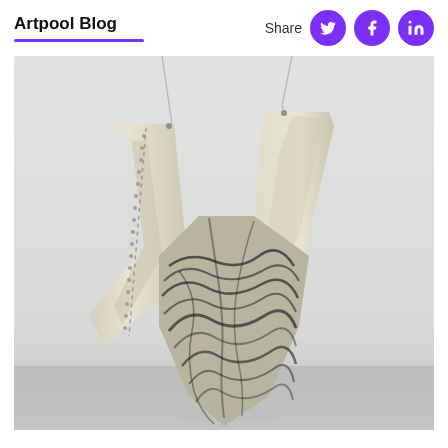Artpool Blog
[Figure (photo): A sculptural artwork suspended by two thin chains or wires from above. The piece consists of large sheets of material — cream/off-white canvas or leather — that are stitched or riveted along one edge and open/draped on the other sides. The lower portion features a dramatic black-and-white marbled or painted pattern swirling through the material. The sculpture hangs against a light grey studio background and the bottom portion touches or nearly touches a grey floor surface.]